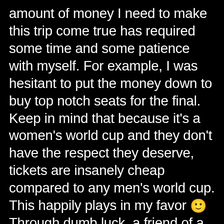amount of money I need to make this trip come true has required some time and some patience with myself. For example, I was hesitant to put the money down to buy top notch seats for the final. Keep in mind that because it's a women's world cup and they don't have the respect they deserve, tickets are insanely cheap compared to any men's world cup. This happily plays in my favor 🙂 Through dumb luck, a friend of a friend was able to sublease my room until August which not only financed my rent for Vancouver but left me with a very large chunk of change leftover. Suddenly, it all started to come together.
Sunday I arrive in Vancouver in the afternoon. My first impression: it's a lot hotter than I was expecting, and I do not know what that is going on.